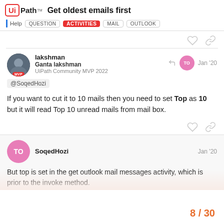UiPath — Get oldest emails first | Help | QUESTION | ACTIVITIES | MAIL | OUTLOOK
@SoqedHozi

If you want to cut it to 10 mails then you need to set Top as 10 but it will read Top 10 unread mails from mail box.
SoqedHozi — Jan '20

But top is set in the get outlook mail messages activity, which is prior to the invoke method.
8 / 30